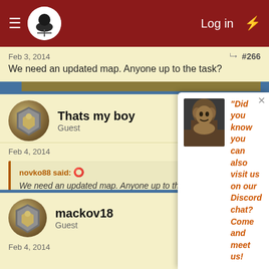Log in
Feb 3, 2014 #266
We need an updated map. Anyone up to the task?
Thats my boy — Guest
Feb 4, 2014 #267
novko88 said: We need an updated map. Anyone up to the task?
But effort D:
mackov18 — Guest
Feb 4, 2014 #268
Did you know you can also visit us on our Discord chat? Come and meet us!